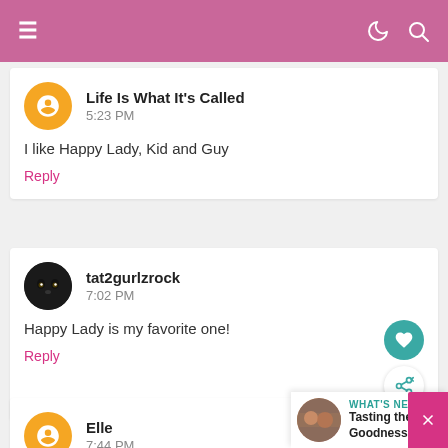Navigation bar with hamburger menu, moon icon, and search icon
Life Is What It's Called
5:23 PM
I like Happy Lady, Kid and Guy
Reply
tat2gurlzrock
7:02 PM
Happy Lady is my favorite one!
Reply
Elle
7:44 PM
WHAT'S NEXT → Tasting the Goodness at...